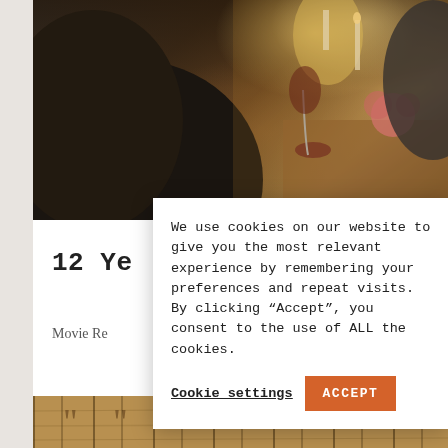[Figure (photo): Dinner party scene with candles, wine glasses, and floral centerpiece on a formal dining table, people in background.]
12 Ye
F
Movie Re
of
S
No
We use cookies on our website to give you the most relevant experience by remembering your preferences and repeat visits. By clicking “Accept”, you consent to the use of ALL the cookies.
Cookie settings
ACCEPT
[Figure (photo): Bottom strip showing wooden surface with decorative quote mark symbols.]